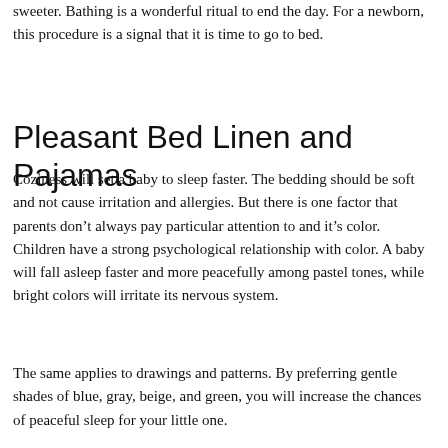sweeter. Bathing is a wonderful ritual to end the day. For a newborn, this procedure is a signal that it is time to go to bed.
Pleasant Bed Linen and Pajamas
Coziness will set a baby to sleep faster. The bedding should be soft and not cause irritation and allergies. But there is one factor that parents don’t always pay particular attention to and it’s color. Children have a strong psychological relationship with color. A baby will fall asleep faster and more peacefully among pastel tones, while bright colors will irritate its nervous system.
The same applies to drawings and patterns. By preferring gentle shades of blue, gray, beige, and green, you will increase the chances of peaceful sleep for your little one.